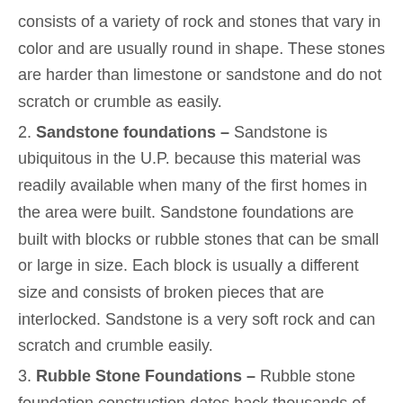consists of a variety of rock and stones that vary in color and are usually round in shape. These stones are harder than limestone or sandstone and do not scratch or crumble as easily.
2. Sandstone foundations – Sandstone is ubiquitous in the U.P. because this material was readily available when many of the first homes in the area were built. Sandstone foundations are built with blocks or rubble stones that can be small or large in size. Each block is usually a different size and consists of broken pieces that are interlocked. Sandstone is a very soft rock and can scratch and crumble easily.
3. Rubble Stone Foundations – Rubble stone foundation construction dates back thousands of years and is one of the oldest foundation techniques known to man. In fact, rubble foundations were used